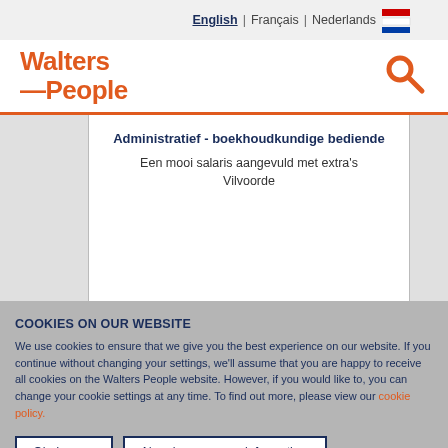English | Français | Nederlands
[Figure (logo): Walters People logo in orange with search icon]
Administratief - boekhoudkundige bediende
Een mooi salaris aangevuld met extra's
Vilvoorde
COOKIES ON OUR WEBSITE
We use cookies to ensure that we give you the best experience on our website. If you continue without changing your settings, we'll assume that you are happy to receive all cookies on the Walters People website. However, if you would like to, you can change your cookie settings at any time. To find out more, please view our cookie policy.
Ok, I agree | No, give me more information